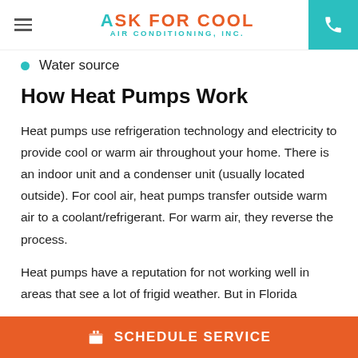ASK FOR COOL Air Conditioning, Inc.
Water source
How Heat Pumps Work
Heat pumps use refrigeration technology and electricity to provide cool or warm air throughout your home. There is an indoor unit and a condenser unit (usually located outside). For cool air, heat pumps transfer outside warm air to a coolant/refrigerant. For warm air, they reverse the process.
Heat pumps have a reputation for not working well in areas that see a lot of frigid weather. But in Florida
SCHEDULE SERVICE